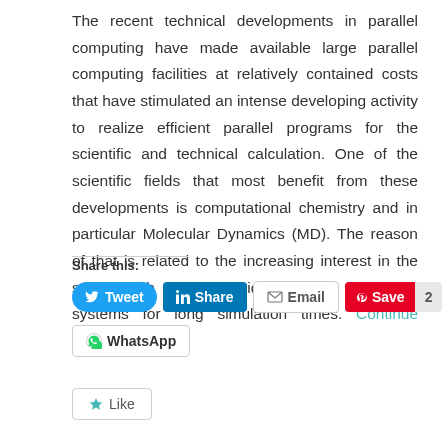The recent technical developments in parallel computing have made available large parallel computing facilities at relatively contained costs that have stimulated an intense developing activity to realize efficient parallel programs for the scientific and technical calculation. One of the scientific fields that most benefit from these developments is computational chemistry and in particular Molecular Dynamics (MD). The reason of that is related to the increasing interest in the study, with this technique, larger molecular systems for long simulation times. Continue reading →
Share this:
Like